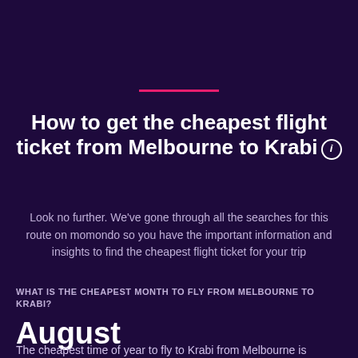How to get the cheapest flight ticket from Melbourne to Krabi
Look no further. We've gone through all the searches for this route on momondo so you have the important information and insights to find the cheapest flight ticket for your trip
WHAT IS THE CHEAPEST MONTH TO FLY FROM MELBOURNE TO KRABI?
August
The cheapest time of year to fly to Krabi from Melbourne is